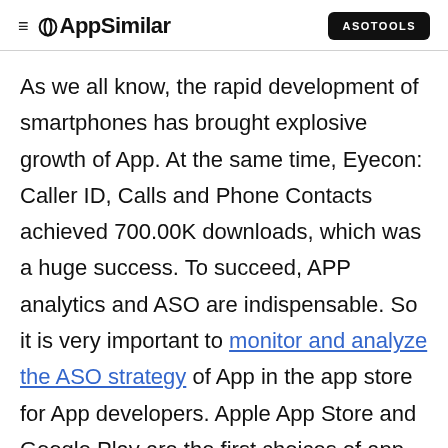≡ AppSimilar | ASOTOOLS
As we all know, the rapid development of smartphones has brought explosive growth of App. At the same time, Eyecon: Caller ID, Calls and Phone Contacts achieved 700.00K downloads, which was a huge success. To succeed, APP analytics and ASO are indispensable. So it is very important to monitor and analyze the ASO strategy of App in the app store for App developers. Apple App Store and Google Play are the first choices of app developers.